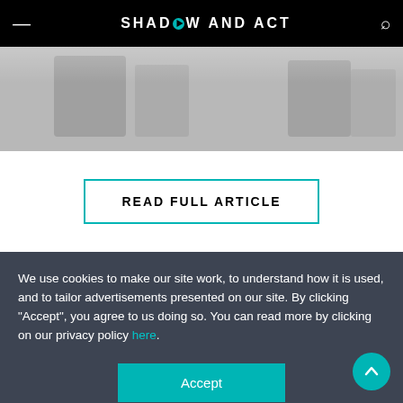Shadow and Act
[Figure (photo): Partial grayscale photo visible behind the header and in the upper content area]
READ FULL ARTICLE
We use cookies to make our site work, to understand how it is used, and to tailor advertisements presented on our site. By clicking "Accept", you agree to us doing so. You can read more by clicking on our privacy policy here.
Accept